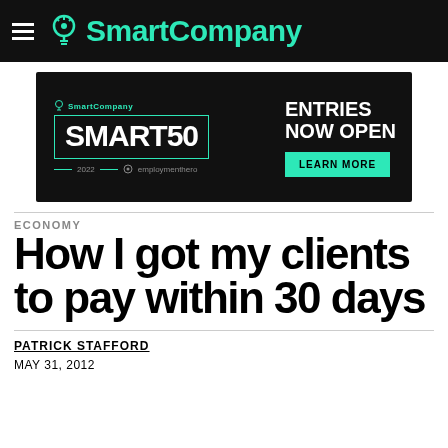SmartCompany
[Figure (screenshot): SmartCompany Smart50 2022 advertisement banner. Black background with teal SmartCompany logo and 'SMART50' text on the left, '2022 employmenthero' below. Right side reads 'ENTRIES NOW OPEN' in white bold text with a teal 'LEARN MORE' button.]
ECONOMY
How I got my clients to pay within 30 days
PATRICK STAFFORD
MAY 31, 2012